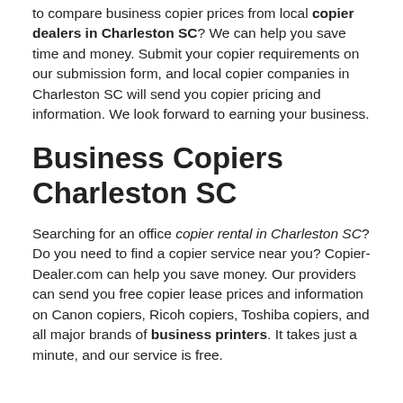to compare business copier prices from local copier dealers in Charleston SC? We can help you save time and money. Submit your copier requirements on our submission form, and local copier companies in Charleston SC will send you copier pricing and information. We look forward to earning your business.
Business Copiers Charleston SC
Searching for an office copier rental in Charleston SC? Do you need to find a copier service near you? Copier-Dealer.com can help you save money. Our providers can send you free copier lease prices and information on Canon copiers, Ricoh copiers, Toshiba copiers, and all major brands of business printers. It takes just a minute, and our service is free.